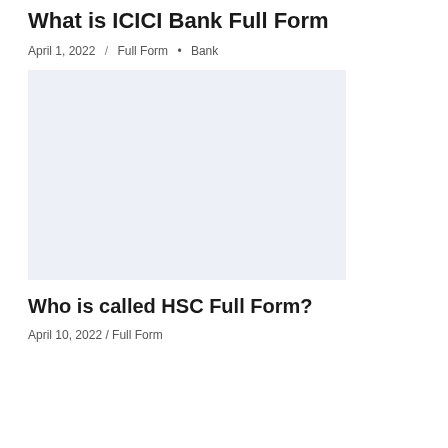What is ICICI Bank Full Form
April 1, 2022 / Full Form • Bank
[Figure (other): Light blue-grey rectangular placeholder image]
Who is called HSC Full Form?
April 10, 2022 / Full Form